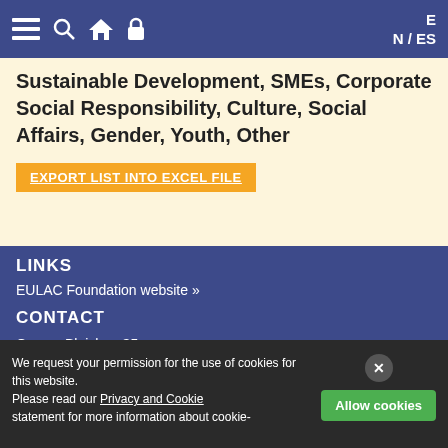Navigation bar with menu, search, home, lock icons and EN / ES language switcher
Sustainable Development, SMEs, Corporate Social Responsibility, Culture, Social Affairs, Gender, Youth, Other
EXPORT LIST INTO EXCEL FILE
LINKS
EULAC Foundation website »
CONTACT
Grosse Bleichen 35
20354 Hamburg
Germany
T: +49 (0)40 80 60 11 45-0
We request your permission for the use of cookies for this website.
Please read our Privacy and Cookie statement for more information about cookie-